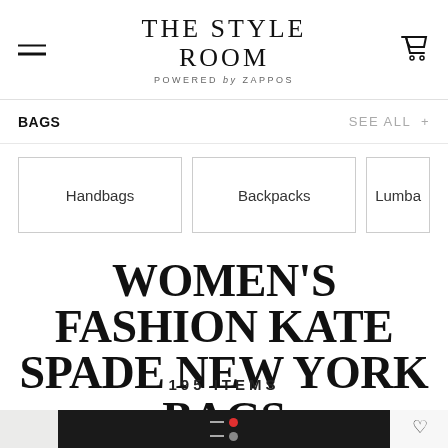THE STYLE ROOM POWERED by ZAPPOS
BAGS
SEE ALL +
Handbags
Backpacks
Lumba
WOMEN'S FASHION KATE SPADE NEW YORK BAGS
195 ITEMS
[Figure (screenshot): Two product image tiles at the bottom showing Kate Spade New York bags — a black handbag on left and a dark red/burgundy handbag on right, each with a heart/wishlist button. A dark notification bar overlays the center bottom.]